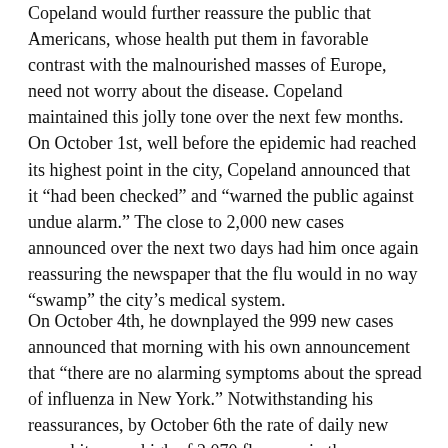Copeland would further reassure the public that Americans, whose health put them in favorable contrast with the malnourished masses of Europe, need not worry about the disease. Copeland maintained this jolly tone over the next few months. On October 1st, well before the epidemic had reached its highest point in the city, Copeland announced that it “had been checked” and “warned the public against undue alarm.” The close to 2,000 new cases announced over the next two days had him once again reassuring the newspaper that the flu would in no way “swamp” the city’s medical system.
On October 4th, he downplayed the 999 new cases announced that morning with his own announcement that “there are no alarming symptoms about the spread of influenza in New York.” Notwithstanding his reassurances, by October 6th the rate of daily new cases hit a new high of 2,070 flu cases in the